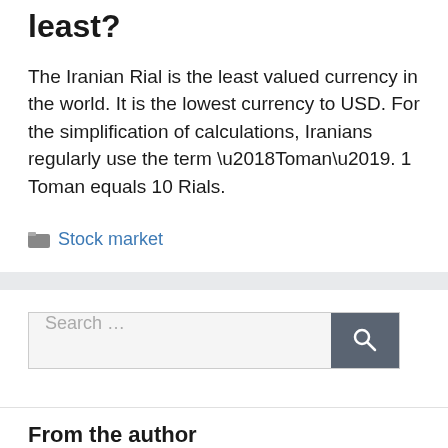least?
The Iranian Rial is the least valued currency in the world. It is the lowest currency to USD. For the simplification of calculations, Iranians regularly use the term ‘Toman’. 1 Toman equals 10 Rials.
Stock market
Search …
From the author